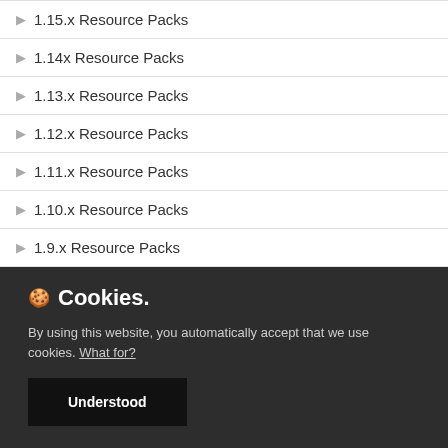1.15.x Resource Packs
1.14x Resource Packs
1.13.x Resource Packs
1.12.x Resource Packs
1.11.x Resource Packs
1.10.x Resource Packs
1.9.x Resource Packs
1.8.x Resource Packs
🍪 Cookies.
By using this website, you automatically accept that we use cookies. What for?
Understood